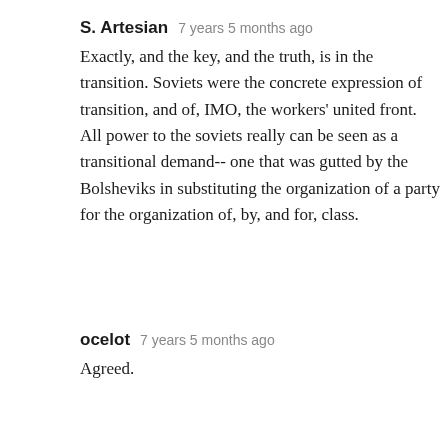S. Artesian   7 years 5 months ago
Exactly, and the key, and the truth, is in the transition. Soviets were the concrete expression of transition, and of, IMO, the workers' united front. All power to the soviets really can be seen as a transitional demand-- one that was gutted by the Bolsheviks in substituting the organization of a party for the organization of, by, and for, class.
ocelot   7 years 5 months ago
Agreed.